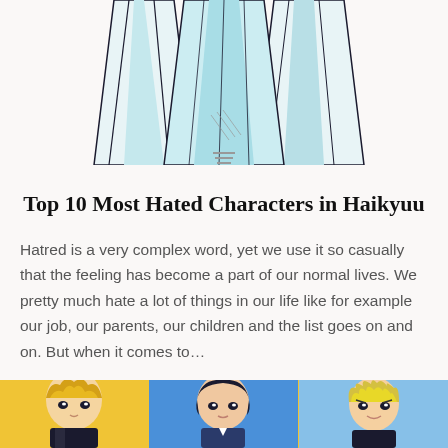[Figure (illustration): Partial anime character illustration in light blue and white tones, cropped at top of page]
Top 10 Most Hated Characters in Haikyuu
Hatred is a very complex word, yet we use it so casually that the feeling has become a part of our normal lives. We pretty much hate a lot of things in our life like for example our job, our parents, our children and the list goes on and on. But when it comes to…
[Figure (illustration): Three anime character portraits on a yellow/gold background strip at the bottom of the page — left: blonde character, center: dark-haired character, right: blonde spiky-haired character]